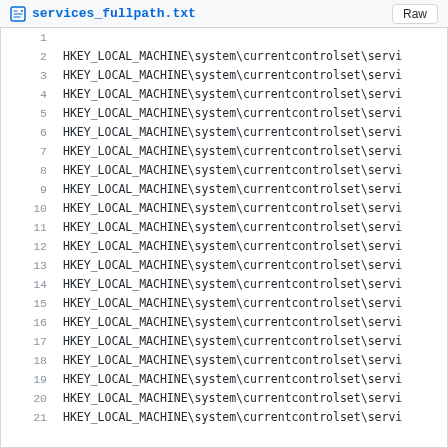services_fullpath.txt  Raw
1
2  HKEY_LOCAL_MACHINE\system\currentcontrolset\servi
3  HKEY_LOCAL_MACHINE\system\currentcontrolset\servi
4  HKEY_LOCAL_MACHINE\system\currentcontrolset\servi
5  HKEY_LOCAL_MACHINE\system\currentcontrolset\servi
6  HKEY_LOCAL_MACHINE\system\currentcontrolset\servi
7  HKEY_LOCAL_MACHINE\system\currentcontrolset\servi
8  HKEY_LOCAL_MACHINE\system\currentcontrolset\servi
9  HKEY_LOCAL_MACHINE\system\currentcontrolset\servi
10  HKEY_LOCAL_MACHINE\system\currentcontrolset\servi
11  HKEY_LOCAL_MACHINE\system\currentcontrolset\servi
12  HKEY_LOCAL_MACHINE\system\currentcontrolset\servi
13  HKEY_LOCAL_MACHINE\system\currentcontrolset\servi
14  HKEY_LOCAL_MACHINE\system\currentcontrolset\servi
15  HKEY_LOCAL_MACHINE\system\currentcontrolset\servi
16  HKEY_LOCAL_MACHINE\system\currentcontrolset\servi
17  HKEY_LOCAL_MACHINE\system\currentcontrolset\servi
18  HKEY_LOCAL_MACHINE\system\currentcontrolset\servi
19  HKEY_LOCAL_MACHINE\system\currentcontrolset\servi
20  HKEY_LOCAL_MACHINE\system\currentcontrolset\servi
21  HKEY_LOCAL_MACHINE\system\currentcontrolset\servi